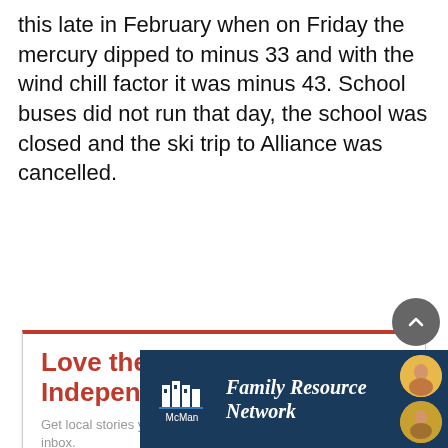this late in February when on Friday the mercury dipped to minus 33 and with the wind chill factor it was minus 43. School buses did not run that day, the school was closed and the ski trip to Alliance was cancelled.
[Figure (screenshot): Newsletter subscription widget with red border top, title 'Love the Stettler Independent?', subtitle text, email input field, and partially visible SUBSCRIBE button]
[Figure (screenshot): McMan Family Resource Network advertisement banner with dark blue background, logo, italic text, and circular portrait images]